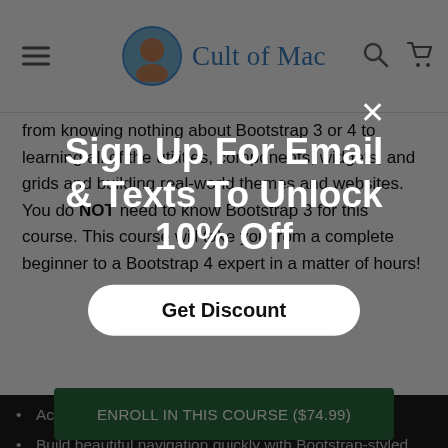Cult of Mac
from knowing nothing about Bootstrap 3 or 4 to learning all of the utilities, components, widgets, and grids and building real-world themes and websites. You do NOT need to know Bootstrap 3 for this course. This course will take you from a complete beginner to a Bootstrap 4 expert in a matter of hours!
Access 36 lectures & 5 hours of content 24/7
Build beautiful navigation quickly with Bootstrap-styled navigation components & more, including support for our collapse plugin.
Build a slideshow — a potential for getting slideshow elements — in multiple places.
Build service pages for your product with featurettes
Learn how to design mobile first
Sign Up For Email & Texts To Unlock 10% Off
Get Discount